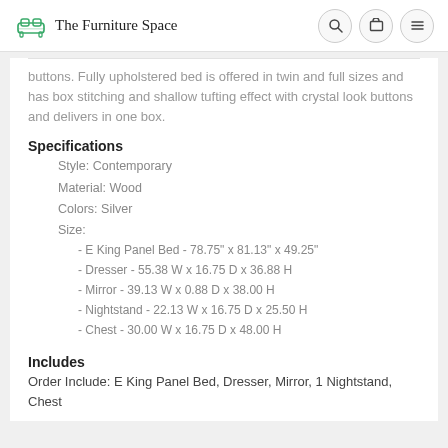The Furniture Space
buttons. Fully upholstered bed is offered in twin and full sizes and has box stitching and shallow tufting effect with crystal look buttons and delivers in one box.
Specifications
Style: Contemporary
Material: Wood
Colors: Silver
Size:
- E King Panel Bed - 78.75" x 81.13" x 49.25"
- Dresser - 55.38 W x 16.75 D x 36.88 H
- Mirror - 39.13 W x 0.88 D x 38.00 H
- Nightstand - 22.13 W x 16.75 D x 25.50 H
- Chest - 30.00 W x 16.75 D x 48.00 H
Includes
Order Include: E King Panel Bed, Dresser, Mirror, 1 Nightstand, Chest